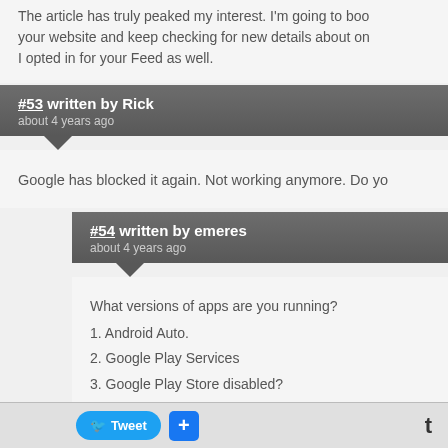The article has truly peaked my interest. I'm going to bookmark your website and keep checking for new details about once a week. I opted in for your Feed as well.
#53 written by Rick
about 4 years ago
Google has blocked it again. Not working anymore. Do yo
#54 written by emeres
about 4 years ago
What versions of apps are you running?
1. Android Auto.
2. Google Play Services
3. Google Play Store disabled?
4. Latest CarStream?
#55 written by seydim